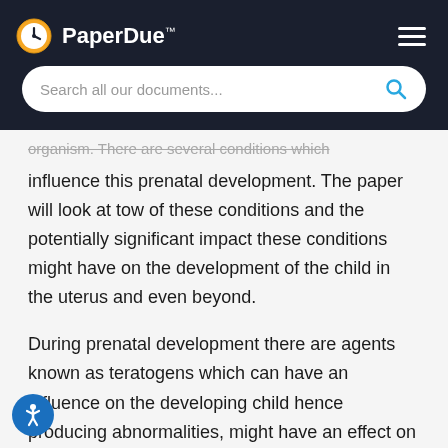PaperDue™
organism. There are several conditions which influence this prenatal development. The paper will look at tow of these conditions and the potentially significant impact these conditions might have on the development of the child in the uterus and even beyond.
During prenatal development there are agents known as teratogens which can have an influence on the developing child hence producing abnormalities, might have an effect on the growth of the organism leading to physical and mental deviations.